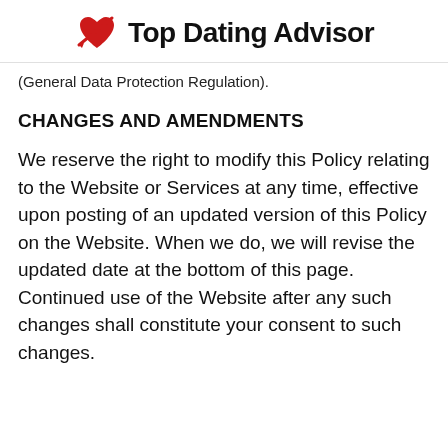[Figure (logo): Top Dating Advisor logo with a red heart and arrow icon and bold text]
(General Data Protection Regulation).
CHANGES AND AMENDMENTS
We reserve the right to modify this Policy relating to the Website or Services at any time, effective upon posting of an updated version of this Policy on the Website. When we do, we will revise the updated date at the bottom of this page. Continued use of the Website after any such changes shall constitute your consent to such changes.